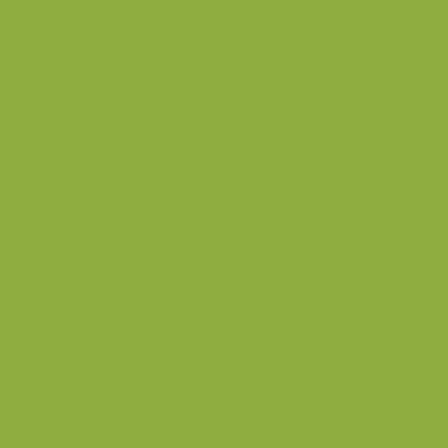Posted by: Forex Brokers | June 02
[Figure (illustration): Avatar thumbnail with teal geometric pattern]
You are great! But I still did g
Posted by: Office 2010 | October 2
[Figure (illustration): Avatar thumbnail with teal geometric pattern]
It wouldn't take much to insta our local hydro source. And I this land is already set aside
Posted by: Computer Courses Gol
[Figure (illustration): Avatar thumbnail with teal geometric pattern]
"A 4,000 MWs wind farm runs
But is that the average for thi You can't base your math on How do you know the wind d this site?
Posted by: Excel 2010 Online Tuto
[Figure (illustration): Avatar thumbnail with teal geometric pattern]
I just read the other article ab